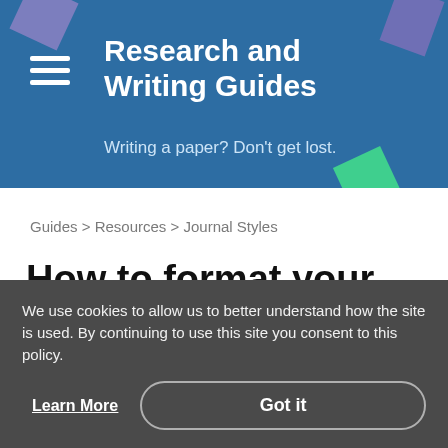Research and Writing Guides
Writing a paper? Don't get lost.
Guides > Resources > Journal Styles
How to format your references using the Journal of Comparative Asian Development
We use cookies to allow us to better understand how the site is used. By continuing to use this site you consent to this policy.
Learn More
Got it